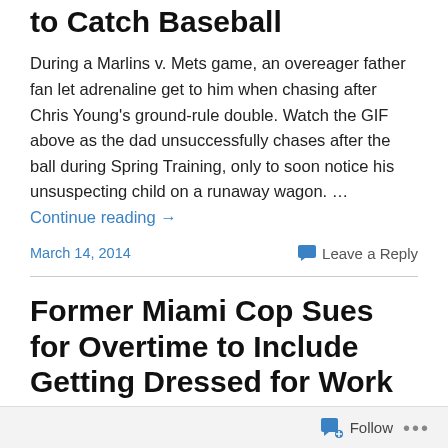to Catch Baseball
During a Marlins v. Mets game, an overeager father fan let adrenaline get to him when chasing after Chris Young's ground-rule double. Watch the GIF above as the dad unsuccessfully chases after the ball during Spring Training, only to soon notice his unsuspecting child on a runaway wagon. … Continue reading →
March 14, 2014   Leave a Reply
Former Miami Cop Sues for Overtime to Include Getting Dressed for Work
Follow